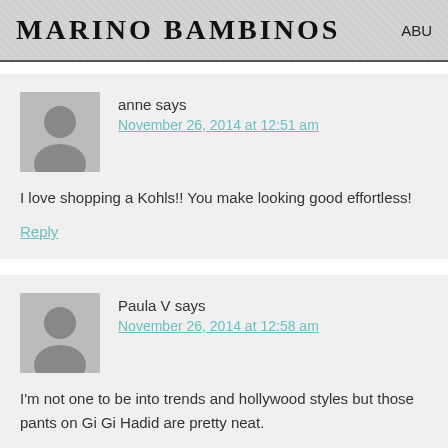MARINO BAMBINOS
anne says
November 26, 2014 at 12:51 am

I love shopping a Kohls!! You make looking good effortless!

Reply
Paula V says
November 26, 2014 at 12:58 am

I'm not one to be into trends and hollywood styles but those pants on Gi Gi Hadid are pretty neat.